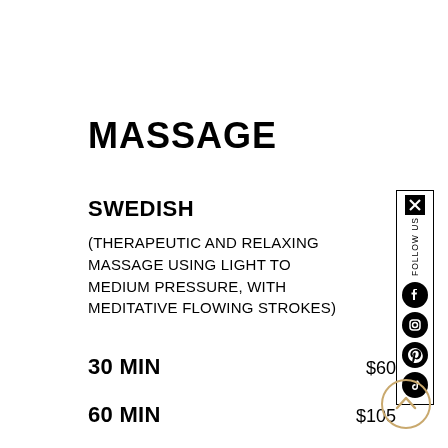MASSAGE
SWEDISH
(THERAPEUTIC AND RELAXING MASSAGE USING LIGHT TO MEDIUM PRESSURE, WITH MEDITATIVE FLOWING STROKES)
30 MIN   $60
60 MIN   $105
[Figure (infographic): Vertical social media follow sidebar with icons for X (Twitter), FOLLOW US text, Facebook, Instagram, Pinterest, and TikTok, enclosed in a black border rectangle]
[Figure (other): Circular button with upward chevron arrow, outlined in gold/tan color]